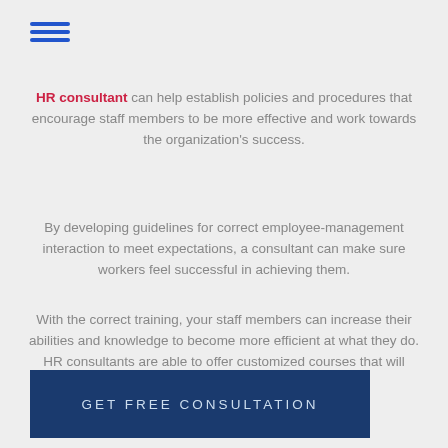[Figure (other): Hamburger menu icon with three horizontal blue lines]
HR consultant can help establish policies and procedures that encourage staff members to be more effective and work towards the organization's success.
By developing guidelines for correct employee-management interaction to meet expectations, a consultant can make sure workers feel successful in achieving them.
With the correct training, your staff members can increase their abilities and knowledge to become more efficient at what they do. HR consultants are able to offer customized courses that will advance both you as an organization's success!
GET FREE CONSULTATION